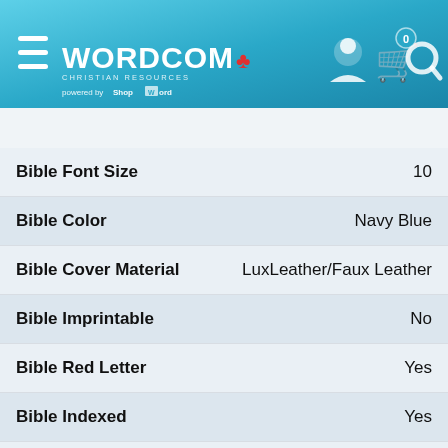[Figure (logo): Wordcom Christian Resources logo with hamburger menu and icons for user, cart, and search on a teal gradient header background]
| Bible Font Size | 10 |
| Bible Color | Navy Blue |
| Bible Cover Material | LuxLeather/Faux Leather |
| Bible Imprintable | No |
| Bible Red Letter | Yes |
| Bible Indexed | Yes |
| Bible Concordance | No |